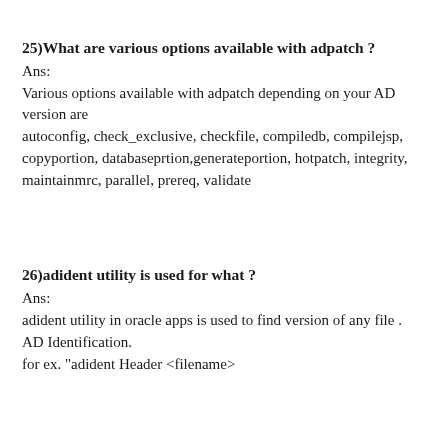25)What are various options available with adpatch ?
Ans:
Various options available with adpatch depending on your AD version are
autoconfig, check_exclusive, checkfile, compiledb, compilejsp, copyportion, databaseprtion,generateportion, hotpatch, integrity, maintainmrc, parallel, prereq, validate
26)adident utility is used for what ?
Ans:
adident utility in oracle apps is used to find version of any file . AD Identification.
for ex. "adident Header <filename>